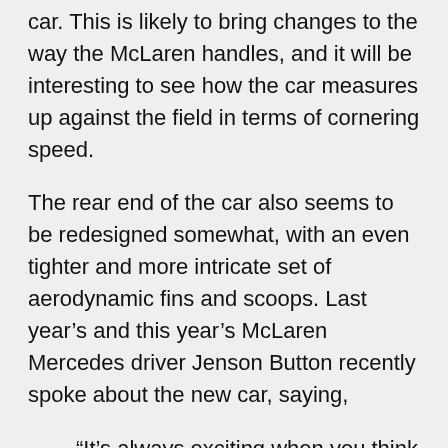car. This is likely to bring changes to the way the McLaren handles, and it will be interesting to see how the car measures up against the field in terms of cornering speed.
The rear end of the car also seems to be redesigned somewhat, with an even tighter and more intricate set of aerodynamic fins and scoops. Last year's and this year's McLaren Mercedes driver Jenson Button recently spoke about the new car, saying,
“It’s always exciting when you think you have a good possibility to fight for world championships. It might look similar because it has the same colour scheme, but this is completely different to last year – under the skin it’s so, so different. That’s